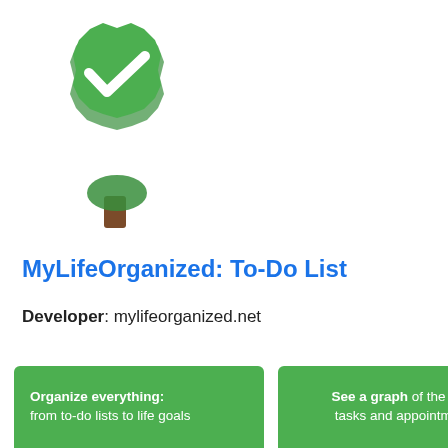[Figure (logo): MyLifeOrganized app icon: green badge/seal shape with white checkmark, brown tree trunk below]
MyLifeOrganized: To-Do List
Developer: mylifeorganized.net
[Figure (screenshot): App screenshot on green background showing text 'Organize everything: from to-do lists to life goals' with smartphone mockup below]
[Figure (screenshot): App screenshot on green background showing text 'See a graph of the day's tasks and appointments' with smartphone mockup below]